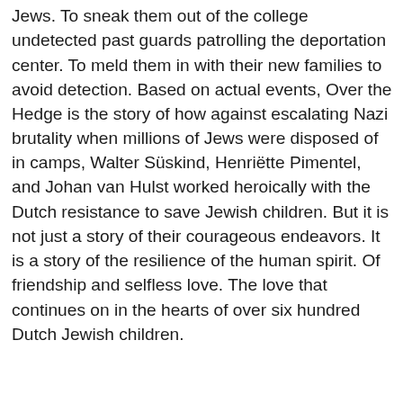Jews. To sneak them out of the college undetected past guards patrolling the deportation center. To meld them in with their new families to avoid detection. Based on actual events, Over the Hedge is the story of how against escalating Nazi brutality when millions of Jews were disposed of in camps, Walter Süskind, Henriëtte Pimentel, and Johan van Hulst worked heroically with the Dutch resistance to save Jewish children. But it is not just a story of their courageous endeavors. It is a story of the resilience of the human spirit. Of friendship and selfless love. The love that continues on in the hearts of over six hundred Dutch Jewish children.
AmazonUK | AmazonUS
[Figure (photo): Book cover image showing 'OVER THE' text in large white bold letters on a dark background]